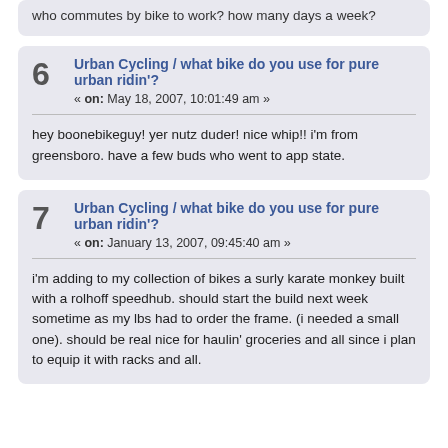who commutes by bike to work? how many days a week?
6  Urban Cycling / what bike do you use for pure urban ridin'?
« on: May 18, 2007, 10:01:49 am »
hey boonebikeguy! yer nutz duder! nice whip!! i'm from greensboro. have a few buds who went to app state.
7  Urban Cycling / what bike do you use for pure urban ridin'?
« on: January 13, 2007, 09:45:40 am »
i'm adding to my collection of bikes a surly karate monkey built with a rolhoff speedhub. should start the build next week sometime as my lbs had to order the frame. (i needed a small one). should be real nice for haulin' groceries and all since i plan to equip it with racks and all.